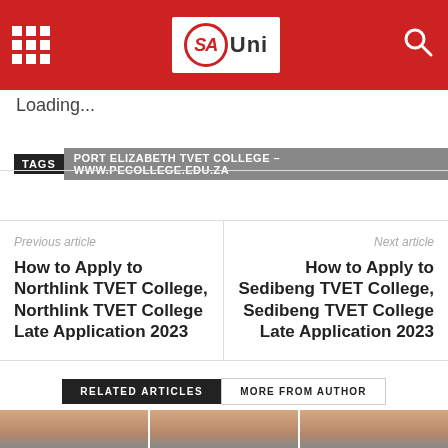[Figure (logo): SAUni website header with red background, grid icon on left, SAUni logo in center, search icon on right]
Loading...
TAGS   PORT ELIZABETH TVET COLLEGE – WWW.PECOLLEGE.EDU.ZA
Previous article
How to Apply to Northlink TVET College, Northlink TVET College Late Application 2023
Next article
How to Apply to Sedibeng TVET College, Sedibeng TVET College Late Application 2023
RELATED ARTICLES   MORE FROM AUTHOR
[Figure (photo): Three cropped student photos at the bottom of the page]